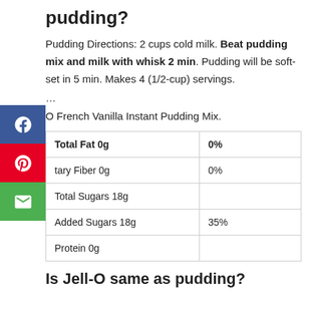pudding?
Pudding Directions: 2 cups cold milk. Beat pudding mix and milk with whisk 2 min. Pudding will be soft-set in 5 min. Makes 4 (1/2-cup) servings.
…
O French Vanilla Instant Pudding Mix.
|  |  |
| --- | --- |
| Total Fat 0g | 0% |
| tary Fiber 0g | 0% |
| Total Sugars 18g |  |
| Added Sugars 18g | 35% |
| Protein 0g |  |
Is Jell-O same as pudding?